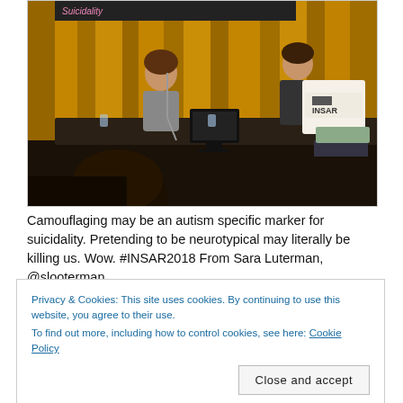[Figure (photo): Conference scene at INSAR 2018 — two speakers seated at a table on stage with golden curtain backdrop; a person in the audience foreground; an INSAR-branded lectern on the right]
Camouflaging may be an autism specific marker for suicidality. Pretending to be neurotypical may literally be killing us. Wow. #INSAR2018 From Sara Luterman, @slooterman
Privacy & Cookies: This site uses cookies. By continuing to use this website, you agree to their use. To find out more, including how to control cookies, see here: Cookie Policy
Close and accept